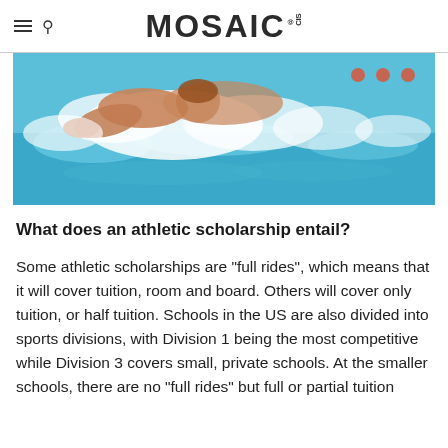MOSAIC CIS
[Figure (photo): A swimmer doing the front crawl stroke in a pool, capturing water splashing around them. The swimmer appears to be in competitive motion with turquoise blue pool water visible.]
What does an athletic scholarship entail?
Some athletic scholarships are "full rides", which means that it will cover tuition, room and board. Others will cover only tuition, or half tuition. Schools in the US are also divided into sports divisions, with Division 1 being the most competitive while Division 3 covers small, private schools. At the smaller schools, there are no "full rides" but full or partial tuition